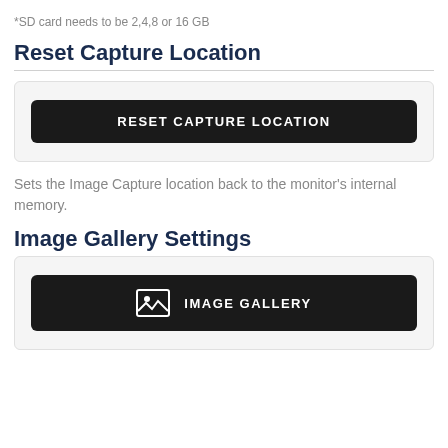*SD card needs to be 2,4,8 or 16 GB
Reset Capture Location
[Figure (screenshot): Dark button labeled RESET CAPTURE LOCATION]
Sets the Image Capture location back to the monitor's internal memory.
Image Gallery Settings
[Figure (screenshot): Dark button with image icon labeled IMAGE GALLERY]